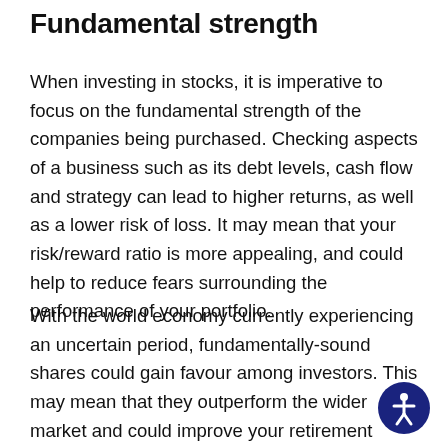Fundamental strength
When investing in stocks, it is imperative to focus on the fundamental strength of the companies being purchased. Checking aspects of a business such as its debt levels, cash flow and strategy can lead to higher returns, as well as a lower risk of loss. It may mean that your risk/reward ratio is more appealing, and could help to reduce fears surrounding the performance of your portfolio.
With the world economy currently experiencing an uncertain period, fundamentally-sound shares could gain favour among investors. This may mean that they outperform the wider market and could improve your retirement prospects.